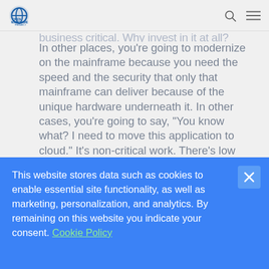Open Mainframe Project [logo, search icon, menu icon]
business critical. Why invest in it at all?
In other places, you're going to modernize on the mainframe because you need the speed and the security that only that mainframe can deliver because of the unique hardware underneath it. In other cases, you're going to say, "You know what? I need to move this application to cloud." It's non-critical work. There's low value response to it. Or, "I really need that dynamic scale out opportunity that is better served on a cloud." You can scale out on a mainframe, but to a limit. So if you have massive dynamic scale out requirements, that's probably better delivered
This website stores data such as cookies to enable essential site functionality, as well as marketing, personalization, and analytics. By remaining on this website you indicate your consent. Cookie Policy